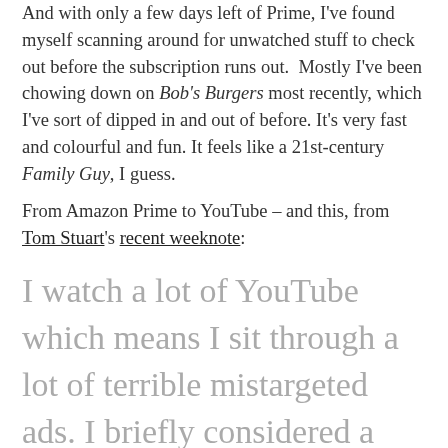And with only a few days left of Prime, I've found myself scanning around for unwatched stuff to check out before the subscription runs out. Mostly I've been chowing down on Bob's Burgers most recently, which I've sort of dipped in and out of before. It's very fast and colourful and fun. It feels like a 21st-century Family Guy, I guess.
From Amazon Prime to YouTube – and this, from Tom Stuart's recent weeknote:
I watch a lot of YouTube which means I sit through a lot of terrible mistargeted ads. I briefly considered a YouTube Premium subscription to make the ads go away, but it turns out that it costs £12 per month —